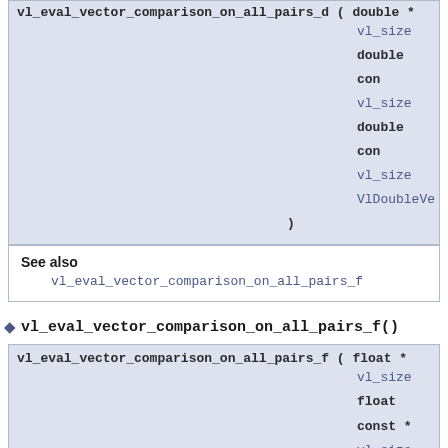vl_eval_vector_comparison_on_all_pairs_d ( double * vl_size double con vl_size double con vl_size VlDoubleVe )
See also
vl_eval_vector_comparison_on_all_pairs_f
◆ vl_eval_vector_comparison_on_all_pairs_f()
vl_eval_vector_comparison_on_all_pairs_f ( float * vl_size float const * vl_size float const * vl_size VlFloatVecto